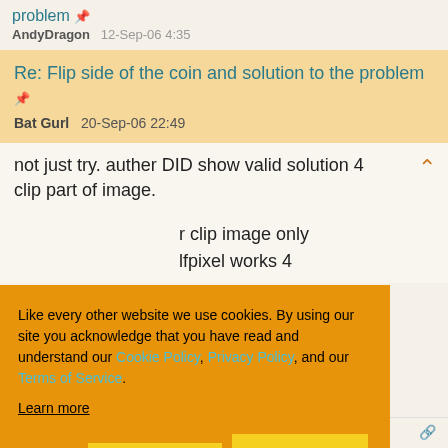problem
AndyDragon   12-Sep-06 4:35
Re: Flip side of the coin and solution to the problem
Bat Gurl   20-Sep-06 22:49
not just try. auther DID show valid solution 4 clip part of image.
r clip image only lfpixel works 4
Like every other website we use cookies. By using our site you acknowledge that you have read and understand our Cookie Policy, Privacy Policy, and our Terms of Service. Learn more
Ask me later   Decline   Allow cookies
Sign In · View Thread